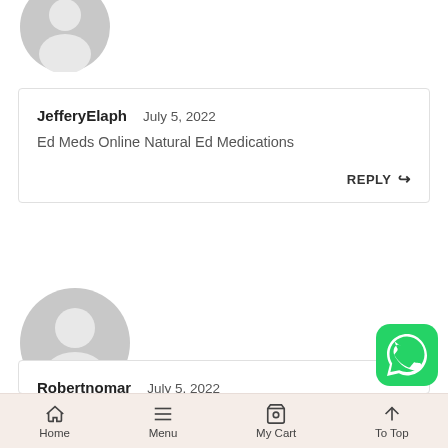[Figure (illustration): Generic user avatar icon (partially cropped at top)]
JefferyElaph   July 5, 2022
Ed Meds Online Natural Ed Medications
REPLY
[Figure (illustration): Generic user avatar icon]
Robertnomar   July 5, 2022
[Figure (illustration): WhatsApp floating button icon]
Home   Menu   My Cart   To Top